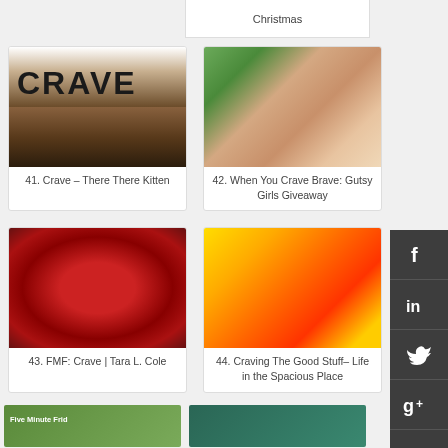Christmas
[Figure (photo): Chocolate bar with text CRAVE visible]
41. Crave – There There Kitten
[Figure (photo): Smiling woman with blonde hair, outdoor background]
42. When You Crave Brave: Gutsy Girls Giveaway
[Figure (photo): Red berries and fruits covered in sugar/frost]
43. FMF: Crave | Tara L. Cole
[Figure (photo): Colorful mini peppers in yellow, orange, and red]
44. Craving The Good Stuff– Life in the Spacious Place
[Figure (photo): Partial image bottom left, green background with text Five Minute Fri...]
[Figure (photo): Partial image bottom right, teal/green background]